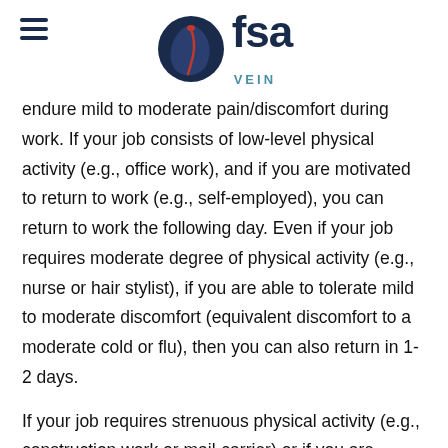FSA VEIN
endure mild to moderate pain/discomfort during work. If your job consists of low-level physical activity (e.g., office work), and if you are motivated to return to work (e.g., self-employed), you can return to work the following day. Even if your job requires moderate degree of physical activity (e.g., nurse or hair stylist), if you are able to tolerate mild to moderate discomfort (equivalent discomfort to a moderate cold or flu), then you can also return in 1-2 days.
If your job requires strenuous physical activity (e.g., construction work or mail-carrier) or if you are unable to tolerate mild or moderate discomfort well, then you should take off between 1-3 days plus the weekend and return to work the following Monday. If minimizing time-off from work is important to you, then you